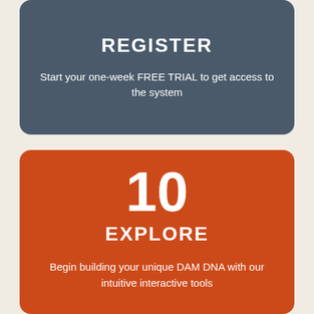REGISTER
Start your one-week FREE TRIAL to get access to the system
10
EXPLORE
Begin building your unique DAM DNA with our intuitive interactive tools